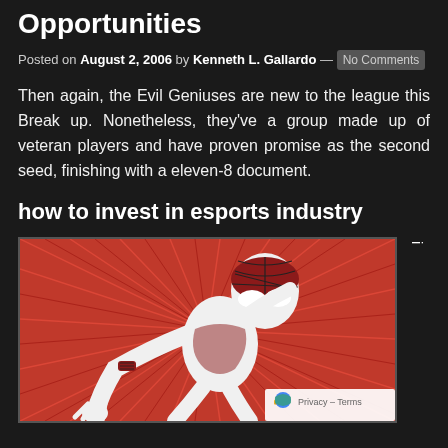Opportunities
Posted on August 2, 2006 by Kenneth L. Gallardo — No Comments
Then again, the Evil Geniuses are new to the league this Break up. Nonetheless, they've a group made up of veteran players and have proven promise as the second seed, finishing with a eleven-8 document.
how to invest in esports industry
[Figure (illustration): Comic-style illustration of a Spider-Man character in white suit with red and black web mask, lunging forward against a red radial burst background]